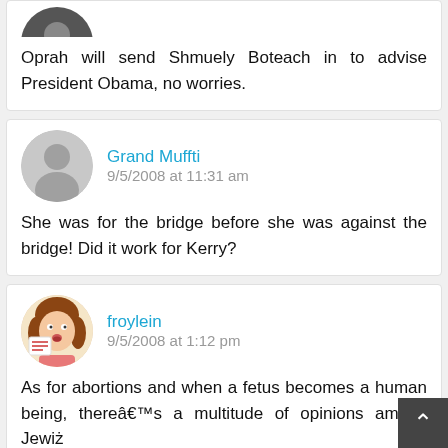Oprah will send Shmuely Boteach in to advise President Obama, no worries.
Grand Muffti
9/5/2008 at 11:31 am
She was for the bridge before she was against the bridge! Did it work for Kerry?
froylein
9/5/2008 at 1:12 pm
As for abortions and when a fetus becomes a human being, thereâs a multitude of opinions among Jewiż